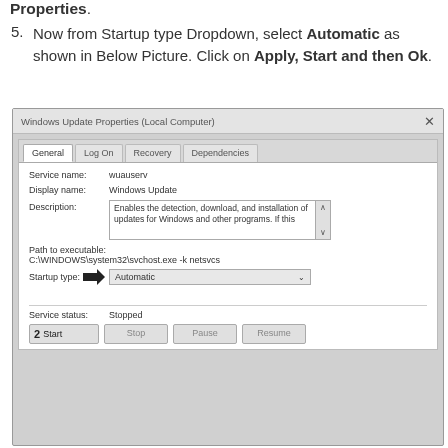Properties.
5. Now from Startup type Dropdown, select Automatic as shown in Below Picture. Click on Apply, Start and then Ok.
[Figure (screenshot): Windows Update Properties (Local Computer) dialog box showing General tab with service name: wuauserv, Display name: Windows Update, Description field, Path to executable: C:\WINDOWS\system32\svchost.exe -k netsvcs, Startup type: Automatic (dropdown), Service status: Stopped, and buttons Start, Stop, Pause, Resume. A black arrow points to the Startup type dropdown. The Start button is labeled with number 2.]